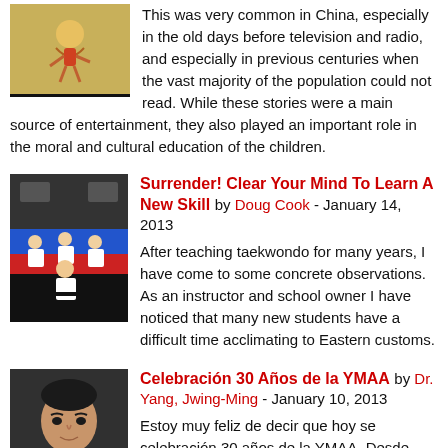[Figure (illustration): Small illustrated image of a traditional Chinese figure, golden/amber tones]
This was very common in China, especially in the old days before television and radio, and especially in previous centuries when the vast majority of the population could not read. While these stories were a main source of entertainment, they also played an important role in the moral and cultural education of the children.
[Figure (photo): Photo of taekwondo students sitting on a blue and red mat in a dojo]
Surrender! Clear Your Mind To Learn A New Skill by Doug Cook - January 14, 2013
After teaching taekwondo for many years, I have come to some concrete observations. As an instructor and school owner I have noticed that many new students have a difficult time acclimating to Eastern customs.
[Figure (photo): Portrait photo of Dr. Yang, Jwing-Ming, an Asian man in a dark shirt]
Celebración 30 Años de la YMAA by Dr. Yang, Jwing-Ming - January 10, 2013
Estoy muy feliz de decir que hoy se celebración 30 años de la YMAA. Desde enseñar a 5-6 alumnos en mi estacionamiento, hacer mi primera visita a